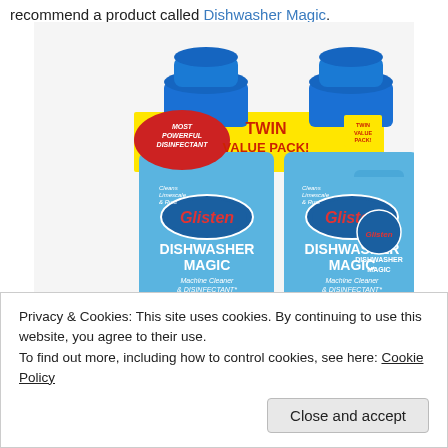recommend a product called Dishwasher Magic.
[Figure (photo): Two Glisten Dishwasher Magic bottles in a Twin Value Pack. The bottles are blue with red Glisten branding. Labels read 'DISHWASHER MAGIC Machine Cleaner & DISINFECTANT'. A yellow band across the top reads 'TWIN VALUE PACK!' and a red badge reads 'MOST POWERFUL DISINFECTANT'.]
Privacy & Cookies: This site uses cookies. By continuing to use this website, you agree to their use.
To find out more, including how to control cookies, see here: Cookie Policy
Close and accept